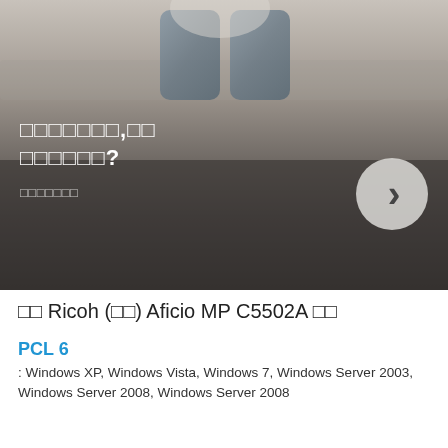[Figure (photo): Person sitting on a couch, photo with dark gradient overlay used as banner background]
□□□□□□□,□□ □□□□□□?
□□□□□□□
□□ Ricoh (□□) Aficio MP C5502A □□
PCL 6
: Windows XP, Windows Vista, Windows 7, Windows Server 2003, Windows Server 2008, Windows Server 2008